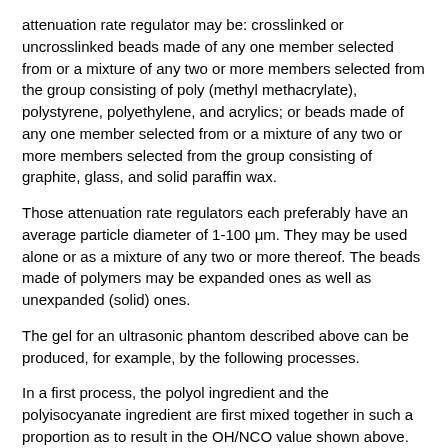attenuation rate regulator may be: crosslinked or uncrosslinked beads made of any one member selected from or a mixture of any two or more members selected from the group consisting of poly (methyl methacrylate), polystyrene, polyethylene, and acrylics; or beads made of any one member selected from or a mixture of any two or more members selected from the group consisting of graphite, glass, and solid paraffin wax.
Those attenuation rate regulators each preferably have an average particle diameter of 1-100 μm. They may be used alone or as a mixture of any two or more thereof. The beads made of polymers may be expanded ones as well as unexpanded (solid) ones.
The gel for an ultrasonic phantom described above can be produced, for example, by the following processes.
In a first process, the polyol ingredient and the polyisocyanate ingredient are first mixed together in such a proportion as to result in the OH/NCO value shown above. An appropriate amount of a catalyst (e.g., dibutyltin dilaurate or a tertiary amine such as a trialkylamine or triethylenediamine) is further mixed therewith according to need. Thus, a material liquid is prepared. This material liquid is injected into a mold and reacted at ordinary or an elevated temperature to thereby produce a segmented polyurethane gel. Subsequently, the organic gel-swelling medium which is liquid is infiltrated and incorporated into the segmented polyurethane gel to produce